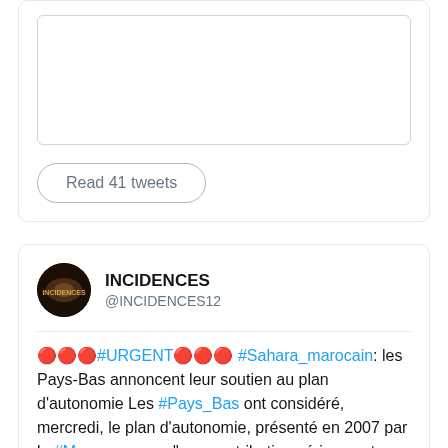[Figure (screenshot): Text input box (tweet box) with border, partially visible card top]
Read 41 tweets
[Figure (screenshot): Twitter profile avatar for INCIDENCES account - dark circular logo]
INCIDENCES
@INCIDENCES12
🔴🔴🔴#URGENT🔴🔴🔴 #Sahara_marocain: les Pays-Bas annoncent leur soutien au plan d'autonomie Les #Pays_Bas ont considéré, mercredi, le plan d'autonomie, présenté en 2007 par le #Maroc, comme "une contribution sérieuse et crédible au processus politique mené par l'#ONU pour